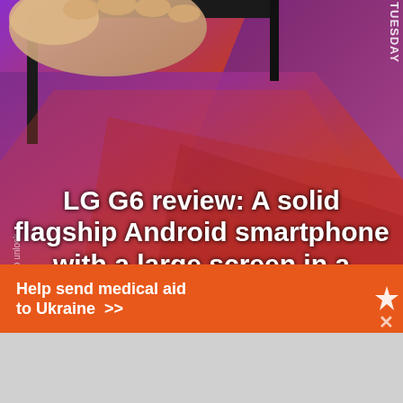[Figure (photo): A hand holding an LG G6 smartphone, showing the screen with a red/purple gradient wallpaper. The screen shows 'TUESDAY' text and 'Swipe to unlock'. The phone is held from above at an angle.]
LG G6 review: A solid flagship Android smartphone with a large screen in a small(er) package
[Figure (infographic): Direct Relief advertisement banner: orange background with white text 'Help send medical aid to Ukraine >>' and Direct Relief logo on the right.]